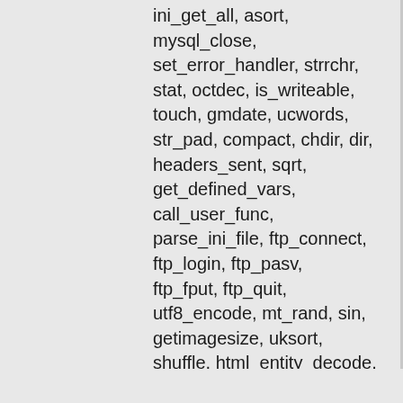ini_get_all, asort, mysql_close, set_error_handler, strrchr, stat, octdec, is_writeable, touch, gmdate, ucwords, str_pad, compact, chdir, dir, headers_sent, sqrt, get_defined_vars, call_user_func, parse_ini_file, ftp_connect, ftp_login, ftp_pasv, ftp_fput, ftp_quit, utf8_encode, mt_rand, sin, getimagesize, uksort, shuffle, html_entity_decode, hexdec, strrev, array_rand, get_defined_functions, fileperms, php_sapi_name, connection_status, mysql_fetch_assoc, mysql_list_tables, printf, is_callable, array_key_exists, eval)